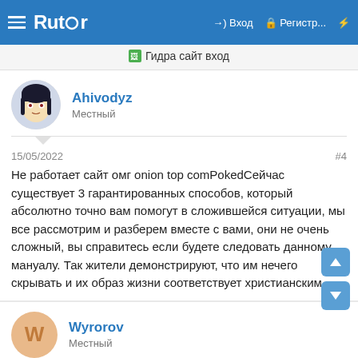≡ Rutor  →) Вход  🔒 Регистр...  ⚡
🖼 Гидра сайт вход
Ahivodyz
Местный
15/05/2022
#4
Не работает сайт омг onion top comPokedСейчас существует 3 гарантированных способов, который абсолютно точно вам помогут в сложившейся ситуации, мы все рассмотрим и разберем вместе с вами, они не очень сложный, вы справитесь если будете следовать данному мануалу. Так жители демонстрируют, что им нечего скрывать и их образ жизни соответствует христианским…
Wyrorov
Местный